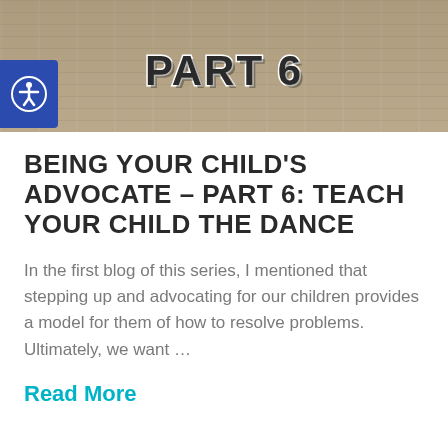[Figure (photo): Wooden plank background with 'PART 6' text overlay in bold black font with white stroke, and a blue accessibility icon button on the left side]
BEING YOUR CHILD'S ADVOCATE – PART 6: TEACH YOUR CHILD THE DANCE
In the first blog of this series, I mentioned that stepping up and advocating for our children provides a model for them of how to resolve problems. Ultimately, we want …
Read More